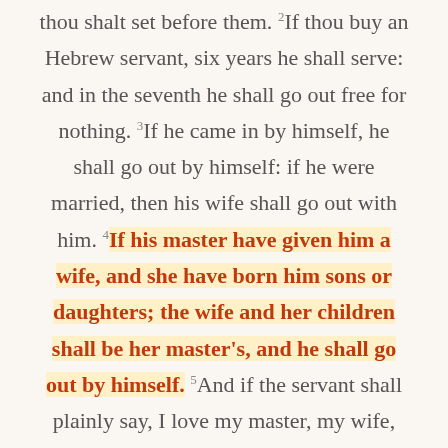thou shalt set before them. 2If thou buy an Hebrew servant, six years he shall serve: and in the seventh he shall go out free for nothing. 3If he came in by himself, he shall go out by himself: if he were married, then his wife shall go out with him. 4If his master have given him a wife, and she have born him sons or daughters; the wife and her children shall be her master's, and he shall go out by himself. 5And if the servant shall plainly say, I love my master, my wife, and my children; I will not go out free: 6Then his master shall